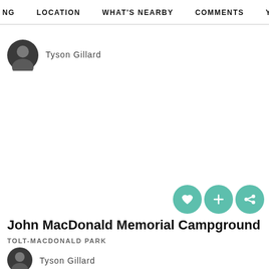NG   LOCATION   WHAT'S NEARBY   COMMENTS   YO
[Figure (photo): Circular avatar photo of Tyson Gillard]
Tyson Gillard
[Figure (infographic): Three teal circular action icons: heart (favorite), plus (add), share]
John MacDonald Memorial Campground
TOLT-MACDONALD PARK
[Figure (photo): Circular avatar photo of Tyson Gillard]
Tyson Gillard